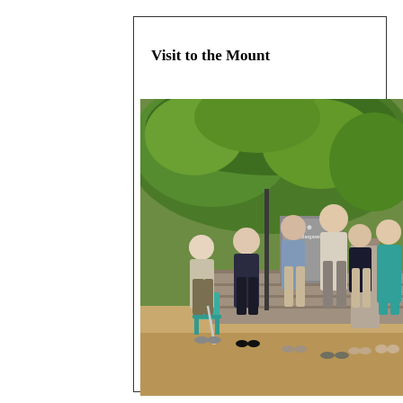Visit to the Mount
[Figure (photo): Group of six people standing outside in front of a stone wall and a church notice board reading 'Saint Margaret's Ch...', with trees in the background. An elderly person with a walking stick stands on the left, and a teal plastic chair is visible behind them.]